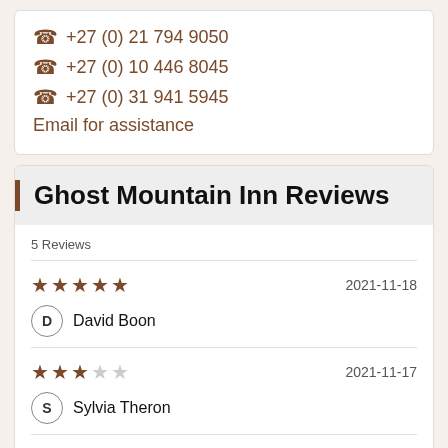☎ +27 (0) 21 794 9050
☎ +27 (0) 10 446 8045
☎ +27 (0) 31 941 5945
Email for assistance
Ghost Mountain Inn Reviews
5 Reviews
★★★★★  2021-11-18
D  David Boon
★★★  2021-11-17
S  Sylvia Theron
★★★★  2021-09-22